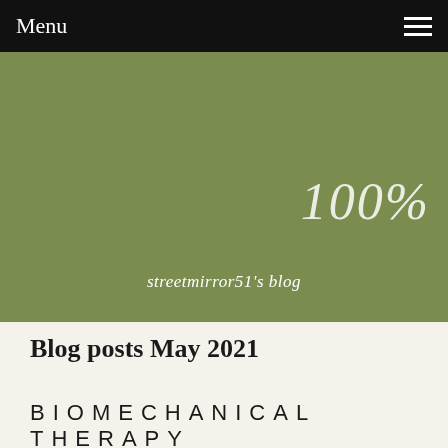Menu
[Figure (illustration): Olive green hero banner with italic white text '100%' in the upper right area and 'streetmirror51's blog' centered near the bottom]
Blog posts May 2021
BIOMECHANICAL THERAPY